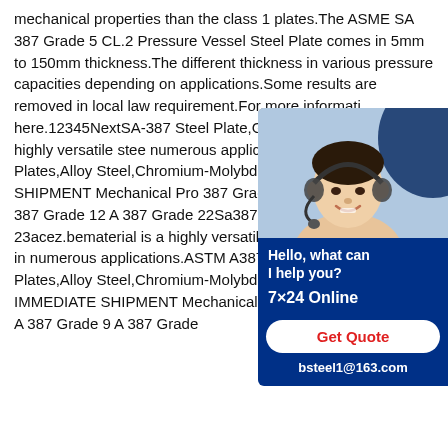mechanical properties than the class 1 plates.The ASME SA 387 Grade 5 CL.2 Pressure Vessel Steel Plate comes in 5mm to 150mm thickness.The different thickness in various pressure capacities depending on applications.Some results are removed in local law requirement.For more information here.12345NextSA-387 Steel Plate,Grade Class 1 material is a highly versatile steel numerous applications.ASTM A387/ SA3 Plates,Alloy Steel,Chromium-Molybdenu IMMEDIATE SHIPMENT Mechanical Pro 387 Grade 9 A 387 Grade 11 A 387 Grade 12 A 387 Grade 22Sa387 grade 5 class2 material - 23acez.bematerial is a highly versatile steel which can be used in numerous applications.ASTM A387/ SA387 Pressure Vessel Plates,Alloy Steel,Chromium-Molybdenum IN STOCK FOR IMMEDIATE SHIPMENT Mechanical Properties A 387 Grade 5 A 387 Grade 9 A 387 Grade
[Figure (photo): Customer service chat widget showing a smiling woman with headset on a dark blue background, with text 'Hello, what can I help you?', '7×24 Online', 'Get Quote' button, and email 'bsteel1@163.com']